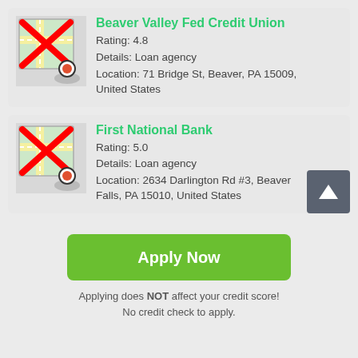[Figure (other): Map pin icon with red X overlay and location marker — Beaver Valley Fed Credit Union listing thumbnail]
Beaver Valley Fed Credit Union
Rating: 4.8
Details: Loan agency
Location: 71 Bridge St, Beaver, PA 15009, United States
[Figure (other): Map pin icon with red X overlay and location marker — First National Bank listing thumbnail]
First National Bank
Rating: 5.0
Details: Loan agency
Location: 2634 Darlington Rd #3, Beaver Falls, PA 15010, United States
Apply Now
Applying does NOT affect your credit score!
No credit check to apply.